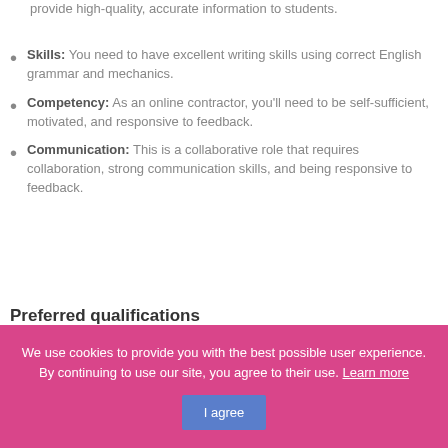provide high-quality, accurate information to students.
Skills: You need to have excellent writing skills using correct English grammar and mechanics.
Competency: As an online contractor, you'll need to be self-sufficient, motivated, and responsive to feedback.
Communication: This is a collaborative role that requires collaboration, strong communication skills, and being responsive to feedback.
Preferred qualifications
We use cookies to provide you with the best possible user experience. By continuing to use our site, you agree to their use. Learn more  I agree